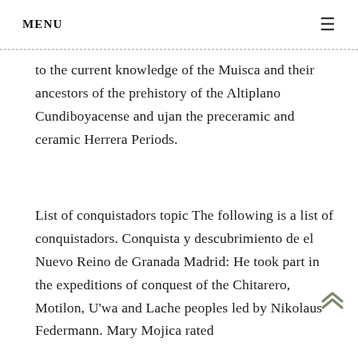MENU
to the current knowledge of the Muisca and their ancestors of the prehistory of the Altiplano Cundiboyacense and ujan the preceramic and ceramic Herrera Periods.
List of conquistadors topic The following is a list of conquistadors. Conquista y descubrimiento de el Nuevo Reino de Granada Madrid: He took part in the expeditions of conquest of the Chitarero, Motilon, U'wa and Lache peoples led by Nikolaus Federmann. Mary Mojica rated